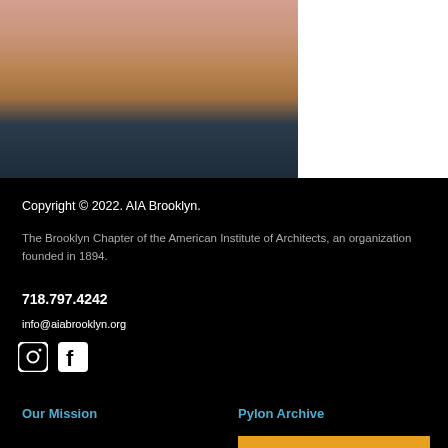[Figure (photo): Headshot photo of a woman with medium-length blonde/brown hair, smiling, against a light background, wearing a dark top.]
Copyright © 2022. AIA Brooklyn.
The Brooklyn Chapter of the American Institute of Architects, an organization founded in 1894.
718.797.4242
info@aiabrooklyn.org
[Figure (logo): Instagram icon and Facebook icon in white on black background]
Our Mission
Pylon Archive